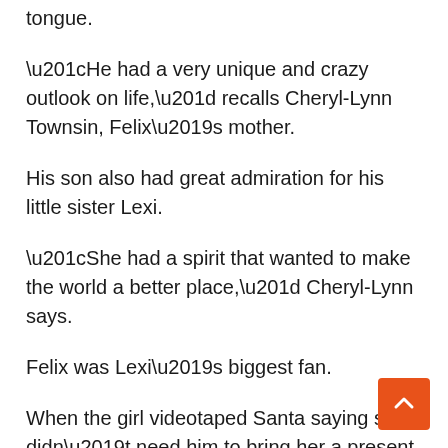tongue.
“He had a very unique and crazy outlook on life,” recalls Cheryl-Lynn Townsin, Felix’s mother.
His son also had great admiration for his little sister Lexi.
“She had a spirit that wanted to make the world a better place,” Cheryl-Lynn says.
Felix was Lexi’s biggest fan.
When the girl videotaped Santa saying she didn’t need him to bring her a present (“It’s good that you take a break so you can relax”) — that she only wanted relief from the ultra-rare Blau Syndrome that was causing debilitating and